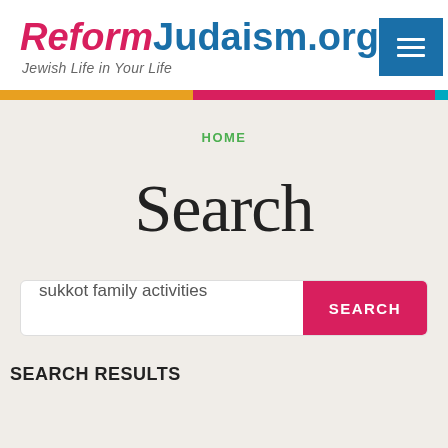ReformJudaism.org — Jewish Life in Your Life
Search
HOME
sukkot family activities
SEARCH RESULTS